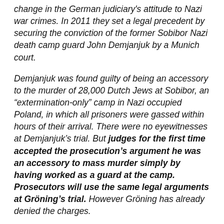change in the German judiciary's attitude to Nazi war crimes. In 2011 they set a legal precedent by securing the conviction of the former Sobibor Nazi death camp guard John Demjanjuk by a Munich court.
Demjanjuk was found guilty of being an accessory to the murder of 28,000 Dutch Jews at Sobibor, an "extermination-only" camp in Nazi occupied Poland, in which all prisoners were gassed within hours of their arrival. There were no eyewitnesses at Demjanjuk's trial. But judges for the first time accepted the prosecution's argument he was an accessory to mass murder simply by having worked as a guard at the camp. Prosecutors will use the same legal arguments at Gröning's trial. However Gröning has already denied the charges.